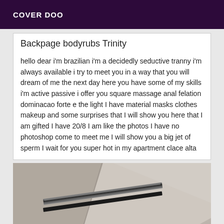COVER DOO
Backpage bodyrubs Trinity
hello dear i'm brazilian i'm a decidedly seductive tranny i'm always available i try to meet you in a way that you will dream of me the next day here you have some of my skills i'm active passive i offer you square massage anal felation dominacao forte e the light I have material masks clothes makeup and some surprises that I will show you here that I am gifted I have 20/8 I am like the photos I have no photoshop come to meet me I will show you a big jet of sperm I wait for you super hot in my apartment clace alta
[Figure (photo): A close-up photo showing what appears to be a beige/cream colored surface or piece of furniture with dark metallic hardware or trim elements, photographed from an angle.]